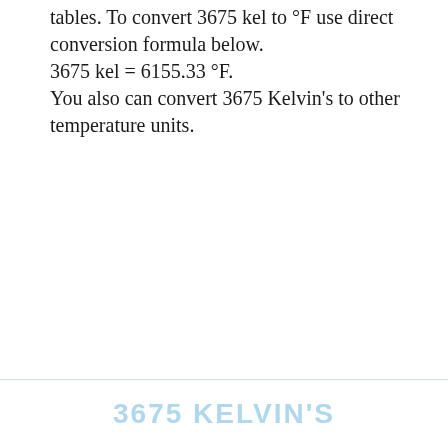tables. To convert 3675 kel to °F use direct conversion formula below.
3675 kel = 6155.33 °F.
You also can convert 3675 Kelvin's to other temperature units.
3675 KELVIN'S